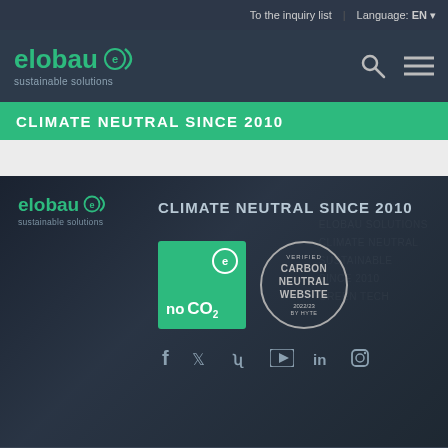To the inquiry list | Language: EN
[Figure (logo): elobau logo with sustainable solutions tagline in header]
CLIMATE NEUTRAL SINCE 2010
[Figure (logo): elobau footer logo with sustainable solutions tagline]
CLIMATE NEUTRAL SINCE 2010
[Figure (illustration): Green badge with elobau e logo and 'no CO2' text, plus circular Carbon Neutral Website verified badge]
[Figure (illustration): Social media icons row: Facebook, Twitter/X, Xing, YouTube, LinkedIn, Instagram]